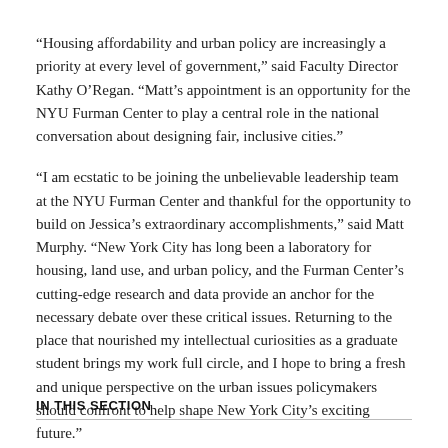“Housing affordability and urban policy are increasingly a priority at every level of government,” said Faculty Director Kathy O’Regan. “Matt’s appointment is an opportunity for the NYU Furman Center to play a central role in the national conversation about designing fair, inclusive cities.”
“I am ecstatic to be joining the unbelievable leadership team at the NYU Furman Center and thankful for the opportunity to build on Jessica’s extraordinary accomplishments,” said Matt Murphy. “New York City has long been a laboratory for housing, land use, and urban policy, and the Furman Center’s cutting-edge research and data provide an anchor for the necessary debate over these critical issues. Returning to the place that nourished my intellectual curiosities as a graduate student brings my work full circle, and I hope to bring a fresh and unique perspective on the urban issues policymakers should confront to help shape New York City’s exciting future.”
IN THIS SECTION